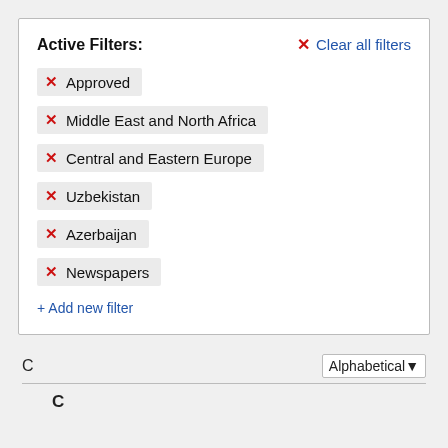Active Filters:
✕ Approved
✕ Middle East and North Africa
✕ Central and Eastern Europe
✕ Uzbekistan
✕ Azerbaijan
✕ Newspapers
+ Add new filter
C
Alphabetical
C